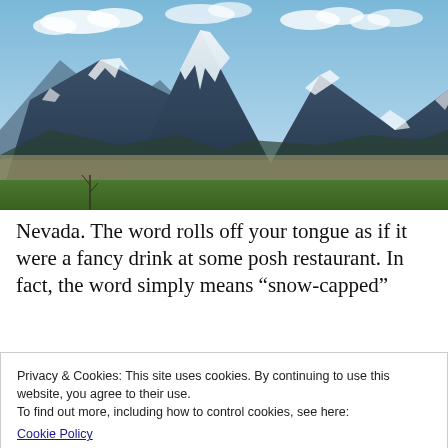[Figure (photo): Landscape photograph of snow-capped mountain peaks in Nevada with blue sky, scattered white clouds, dark forested slopes with snow patches, desert valley floor in the middle distance, and green scrubland in the foreground.]
Nevada. The word rolls off your tongue as if it were a fancy drink at some posh restaurant. In fact, the word simply means “snow-capped”
Privacy & Cookies: This site uses cookies. By continuing to use this website, you agree to their use.
To find out more, including how to control cookies, see here:
Cookie Policy
Close and accept
...words to live more than we’re shaped. We have